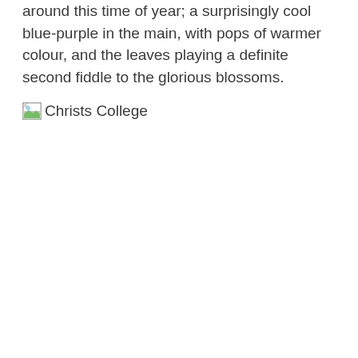around this time of year; a surprisingly cool blue-purple in the main, with pops of warmer colour, and the leaves playing a definite second fiddle to the glorious blossoms.
[Figure (photo): Broken image placeholder with alt text 'Christs College']